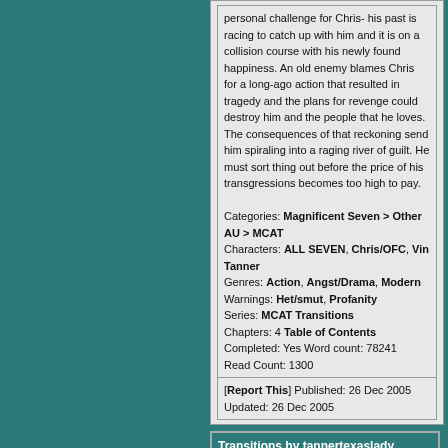personal challenge for Chris- his past is racing to catch up with him and it is on a collision course with his newly found happiness. An old enemy blames Chris for a long-ago action that resulted in tragedy and the plans for revenge could destroy him and the people that he loves. The consequences of that reckoning send him spiraling into a raging river of guilt. He must sort thing out before the price of his transgressions becomes too high to pay.
Categories: Magnificent Seven > Other AU > MCAT Characters: ALL SEVEN, Chris/OFC, Vin Tanner Genres: Action, Angst/Drama, Modern Warnings: Het/smut, Profanity Series: MCAT Transitions Chapters: 4 Table of Contents Completed: Yes Word count: 78241 Read Count: 1300
[Report This] Published: 26 Dec 2005 Updated: 26 Dec 2005
Transitions by tannertexaslady Rated: MATURE [Reviews - 6]
Summary: Series- # 1 Introduction to new AU MCAT. Transitions is about...